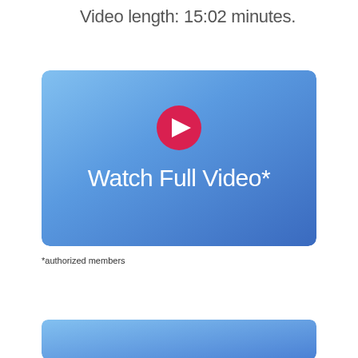Video length: 15:02 minutes.
[Figure (screenshot): Blue gradient video thumbnail with a red play button circle at the top center and white text 'Watch Full Video*' in the lower center portion]
*authorized members
[Figure (screenshot): Partial blue gradient banner at the bottom of the page]